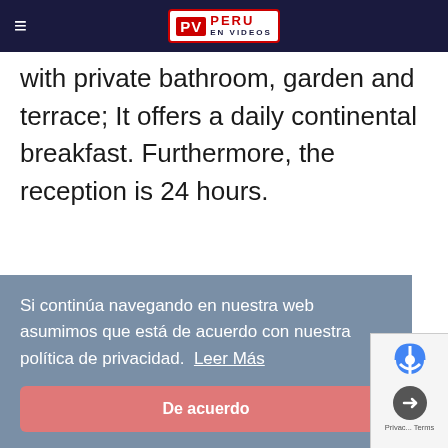PV PERU EN VIDEOS
with private bathroom, garden and terrace; It offers a daily continental breakfast. Furthermore, the reception is 24 hours.
Si continúa navegando en nuestra web asumimos que está de acuerdo con nuestra política de privacidad. Leer Más
De acuerdo